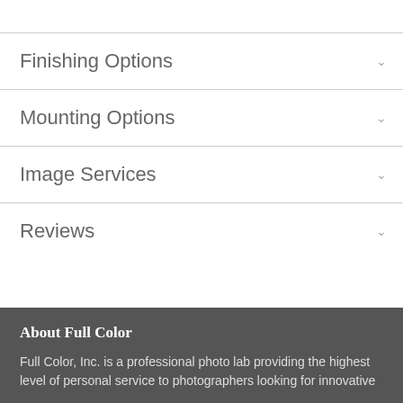Finishing Options
Mounting Options
Image Services
Reviews
FOLLOW US:
About Full Color
Full Color, Inc. is a professional photo lab providing the highest level of personal service to photographers looking for innovative